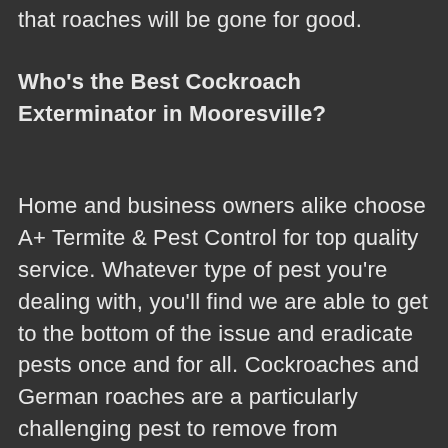that roaches will be gone for good.
Who's the Best Cockroach Exterminator in Mooresville?
Home and business owners alike choose A+ Termite & Pest Control for top quality service. Whatever type of pest you're dealing with, you'll find we are able to get to the bottom of the issue and eradicate pests once and for all. Cockroaches and German roaches are a particularly challenging pest to remove from buildings because roaches are able to adapt to changing environments and become immune to poisons and